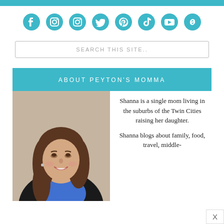[Figure (infographic): Teal horizontal bar at top of page]
[Figure (infographic): Row of social media icons (Facebook, Instagram, Instagram, Twitter, Pinterest, TikTok, YouTube, Link) in teal color]
SEARCH THIS SITE..
ABOUT PEYTON'S MOMMA
[Figure (photo): Headshot of a smiling woman with long brown hair, wearing a black blazer over a blue top]
Shanna is a single mom living in the suburbs of the Twin Cities raising her daughter.

Shanna blogs about family, food, travel, middle-